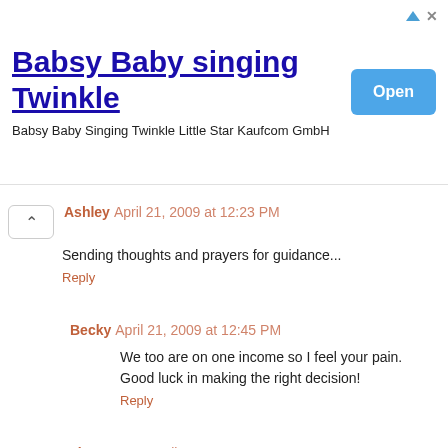[Figure (screenshot): Advertisement banner for Babsy Baby singing Twinkle app with Open button]
Ashley April 21, 2009 at 12:23 PM
Sending thoughts and prayers for guidance...
Reply
Becky April 21, 2009 at 12:45 PM
We too are on one income so I feel your pain. Good luck in making the right decision!
Reply
shortmama April 21, 2009 at 1:01 PM
such a conflict for sure
Reply